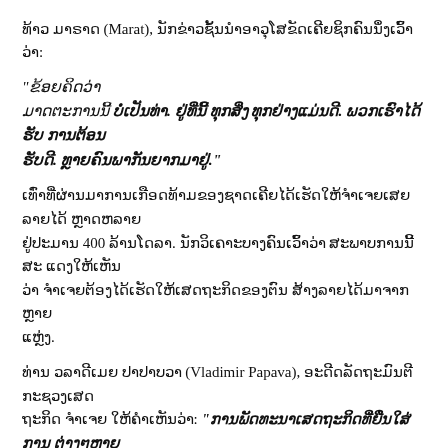ທ້າວ ມາຣາດ (Marat), ນັກຂ່າວຊັ້ນນໍາອາວຸໂສຂັດເຄີຍຊິກຄົນນຶ່ງເວົ້າວ່າ:
"ຂ້ອຍຄິດວ່າ ມາດຕະການນີ້ ບໍ່ເປັນທ່າ. ຢູ່ທີ່ນີ້ ທຸກສິ່ງ ທຸກຢ່າງແມ່ນດີ. ພວກເຮົາໄດ້ຮັບ ການຕ້ອນ ຮັບດີ. ທຼາຍຄົນພາກັນຍາກມາຢູ່."
ເທົ່າທີ່ຜ່ານມາການເກືອດທ້າມຂອງຊາດເຄີຍໄດ້ເຮັດໃຫ້ຈໍາເຈຍເສຍລາຍໄດ້ ຫຼາດຫລາຍ ຢູ່ປະມານ 400 ລ້ານໂດລາ. ນັກວິເຄາະບາງຄົນເວົ້າວ່າ ສະພາບການນີ້ສະ ແດງໃຫ້ເຫັນ ວ່າ ຈໍາເຈຍຕ້ອງໄດ້ເຮັດໃຫ້ເສດຖະກິດຂອງຕົນ ສ້າງລາຍໄດ້ມາຈາກຫຼາຍ ແຫຼ່ງ.
ທ່ານ ວລາດີເມຍ ປາປາບວາ (Vladimir Papava), ອະດີດລັດຖະມົນຕີ ກະຊວງເສດ ຖະກິດ ຈໍາເຈຍ ໃຫ້ຄໍາເຫັນວ່າ: "ການພັດທະນາເສດຖະກິດທີ່ຍືນໃສ່ການ ຕ່າງໆຫຼາຍ ເປັນດ້ານໃດດ້ານໜຶ່ງໂດຍໃຜ, ຄວນທ້ານມເບິ່ງຄືນ​ສອດຄ່ອງດ້ວຍ, ມັນ